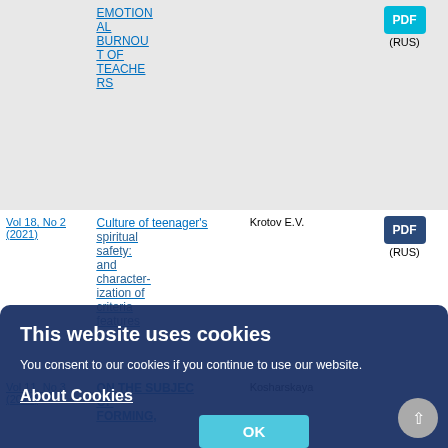EMOTIONAL BURNOUT OF TEACHERS
PDF (RUS)
Vol 18, No 2 (2021)
Culture of teenager's spiritual safety: and characterization of criteria features
Krotov E.V.
PDF (RUS)
Vol 11, No 3 (2014)
ON THE SUBJECT OF FORMING ANAESTHETICC ULTURE OF STUDENTS
Kosharskaya
PDF (RUS)
This website uses cookies
You consent to our cookies if you continue to use our website.
About Cookies
OK